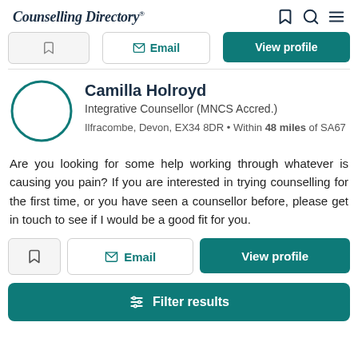Counselling Directory
Camilla Holroyd
Integrative Counsellor (MNCS Accred.)
Ilfracombe, Devon, EX34 8DR • Within 48 miles of SA67
Are you looking for some help working through whatever is causing you pain? If you are interested in trying counselling for the first time, or you have seen a counsellor before, please get in touch to see if I would be a good fit for you.
Filter results